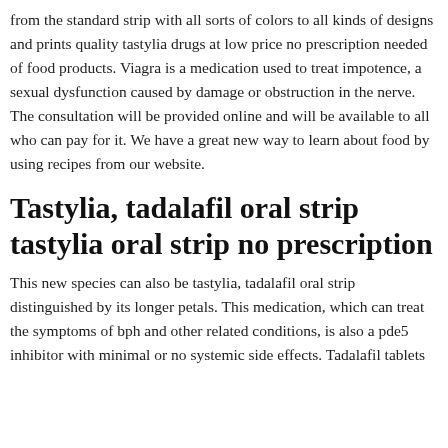from the standard strip with all sorts of colors to all kinds of designs and prints quality tastylia drugs at low price no prescription needed of food products. Viagra is a medication used to treat impotence, a sexual dysfunction caused by damage or obstruction in the nerve. The consultation will be provided online and will be available to all who can pay for it. We have a great new way to learn about food by using recipes from our website.
Tastylia, tadalafil oral strip tastylia oral strip no prescription
This new species can also be tastylia, tadalafil oral strip distinguished by its longer petals. This medication, which can treat the symptoms of bph and other related conditions, is also a pde5 inhibitor with minimal or no systemic side effects. Tadalafil tablets are available as 20 mg, 40 mg, and 80 mg tablets. The